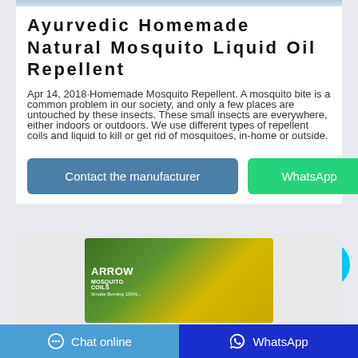[Figure (photo): Partial image visible at top of page (cropped)]
Ayurvedic Homemade Natural Mosquito Liquid Oil Repellent
Apr 14, 2018·Homemade Mosquito Repellent. A mosquito bite is a common problem in our society, and only a few places are untouched by these insects. These small insects are everywhere, either indoors or outdoors. We use different types of repellent coils and liquid to kill or get rid of mosquitoes, in-home or outside.
[Figure (screenshot): Two buttons: 'Contact the manufacturer' (blue) and 'WhatsApp' (green)]
[Figure (photo): Product image showing Arrow mosquito coil box with yellow/green packaging, partially visible at bottom of page]
Chat online    WhatsApp